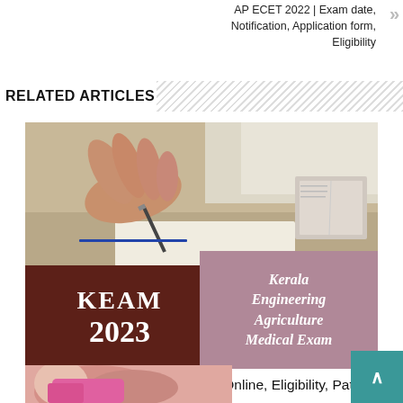AP ECET 2022 | Exam date, Notification, Application form, Eligibility
RELATED ARTICLES
[Figure (photo): KEAM 2023 exam image showing hands writing over paper with KEAM 2023 logo overlay — Kerala Engineering Agriculture Medical Exam banner]
KEAM 2023 | Exam date, Apply Online, Eligibility, Pattern
2 days ago
[Figure (photo): Partial image of a person writing, bottom of page]